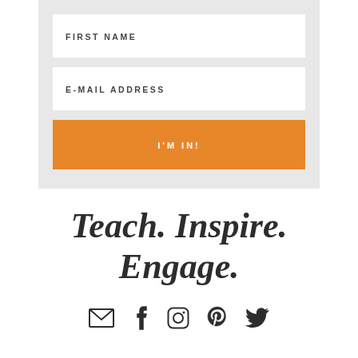[Figure (screenshot): Email sign-up form with First Name field, E-Mail Address field, and orange I'M IN! submit button on a light grey background]
Teach. Inspire. Engage.
[Figure (infographic): Row of five social media icons: email/envelope, Facebook, Instagram, Pinterest, Twitter]